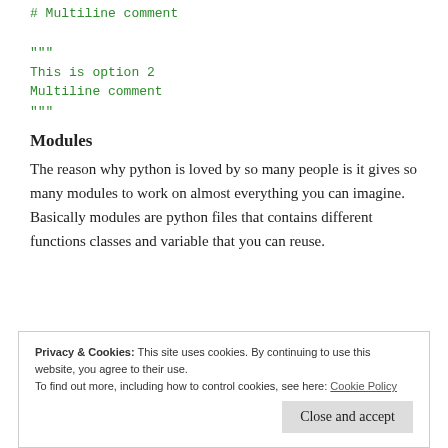# Multiline comment

"""
This is option 2
Multiline comment
"""
Modules
The reason why python is loved by so many people is it gives so many modules to work on almost everything you can imagine. Basically modules are python files that contains different functions classes and variable that you can reuse.
Privacy & Cookies: This site uses cookies. By continuing to use this website, you agree to their use.
To find out more, including how to control cookies, see here: Cookie Policy
Close and accept